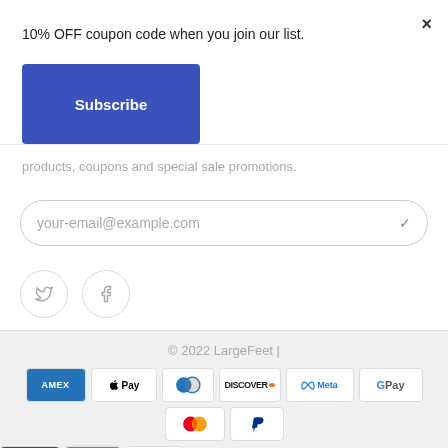×
10% OFF coupon code when you join our list.
Subscribe
products, coupons and special sale promotions.
your-email@example.com
[Figure (illustration): Twitter and Facebook social media icons as circular outlined buttons]
© 2022 LargeFeet |
[Figure (infographic): Payment method icons: AMEX, Apple Pay, Diners, Discover, Meta, Google Pay, Mastercard, PayPal, Shop Pay, Venmo, Visa]